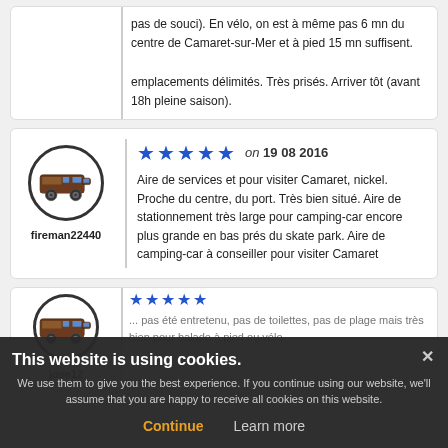pas de souci). En vélo, on est à même pas 6 mn du centre de Camaret-sur-Mer et à pied 15 mn suffisent. emplacements délimités. Très prisés. Arriver tôt (avant 18h pleine saison).
fireman22440
★★★★★ on 19 08 2016
Aire de services et pour visiter Camaret, nickel. Proche du centre, du port. Très bien situé. Aire de stationnement très large pour camping-car encore plus grande en bas prés du skate park. Aire de camping-car à conseiller pour visiter Camaret
jose12
★★★★★ on ...
... pas été entretenu, pas de toilettes, pas de plage mais très bien pour balade à pied ou vélo.
This website is using cookies.
We use them to give you the best experience. If you continue using our website, we'll assume that you are happy to receive all cookies on this website.
Continue   Learn more